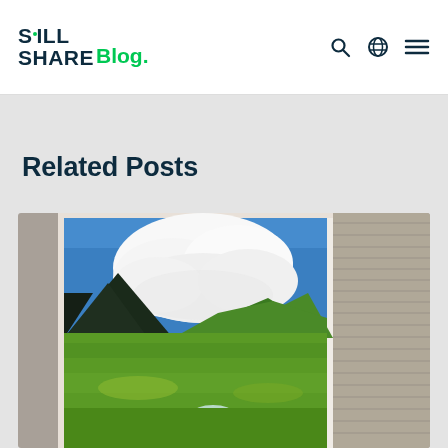Skill Share Blog.
Related Posts
[Figure (photo): A painting of a green valley landscape with mountains, a river, blue sky and white clouds, displayed on a canvas leaning against a wood surface. Part of another image with grey wood-grain texture visible to the right.]